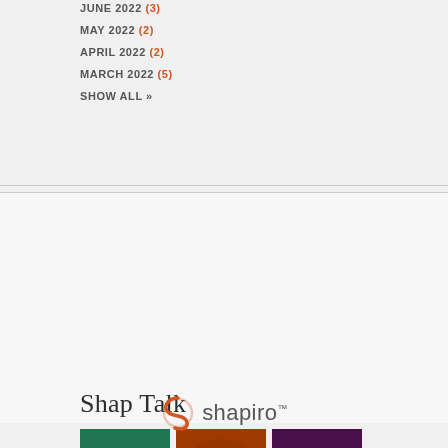JUNE 2022 (3)
MAY 2022 (2)
APRIL 2022 (2)
MARCH 2022 (5)
SHOW ALL »
Shap Talk
[Figure (photo): Three thumbnail images: green shipping containers, orange-tinted landscape/city, purple-tinted airplane]
LEARN MORE »
[Figure (logo): Shapiro logo with S swirl icon and 'shapiro' text with TM mark]